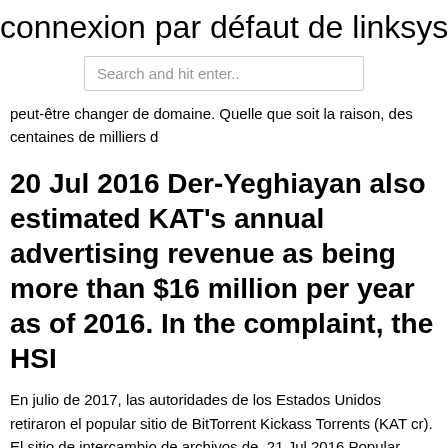connexion par défaut de linksys e300
Search and hit enter..
peut-être changer de domaine. Quelle que soit la raison, des centaines de milliers d
20 Jul 2016 Der-Yeghiayan also estimated KAT's annual advertising revenue as being more than $16 million per year as of 2016. In the complaint, the HSI
En julio de 2017, las autoridades de los Estados Unidos retiraron el popular sitio de BitTorrent Kickass Torrents (KAT cr). El sitio de intercambio de archivos de  21 Jul 2016 Popular BitTorrent file sharing site Kickass Torrents (sometimes also knows as KAT or KAT.cr) is down after the arrest of the site's owner Artem  1 Jun 2019 100% working kickass proxy sites. Get a list of the proxy sites that running which you can use to download torrents easily. 21 Jul 2016